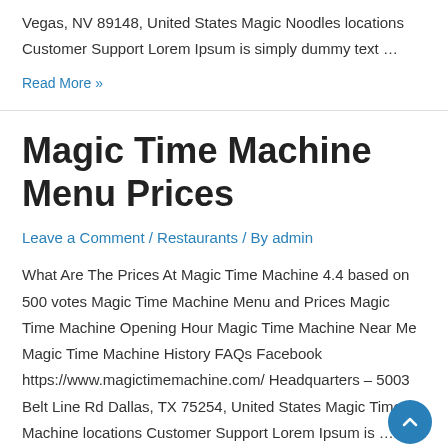Vegas, NV 89148, United States Magic Noodles locations Customer Support Lorem Ipsum is simply dummy text …
Read More »
Magic Time Machine Menu Prices
Leave a Comment / Restaurants / By admin
What Are The Prices At Magic Time Machine 4.4 based on 500 votes Magic Time Machine Menu and Prices Magic Time Machine Opening Hour Magic Time Machine Near Me Magic Time Machine History FAQs Facebook https://www.magictimemachine.com/ Headquarters – 5003 Belt Line Rd Dallas, TX 75254, United States Magic Time Machine locations Customer Support Lorem Ipsum is …